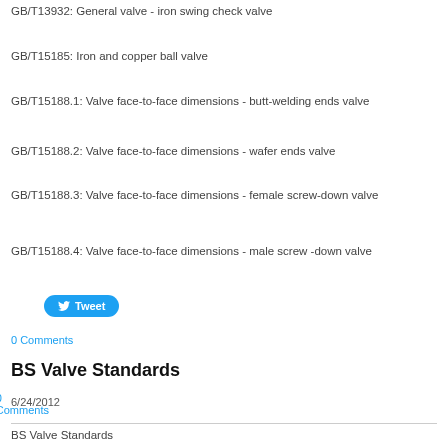GB/T13932: General valve - iron swing check valve
GB/T15185: Iron and copper ball valve
GB/T15188.1: Valve face-to-face dimensions - butt-welding ends valve
GB/T15188.2: Valve face-to-face dimensions - wafer ends valve
GB/T15188.3: Valve face-to-face dimensions - female screw-down valve
GB/T15188.4: Valve face-to-face dimensions - male screw -down valve
Tweet
0 Comments
BS Valve Standards
6/24/2012
0 Comments
BS Valve Standards